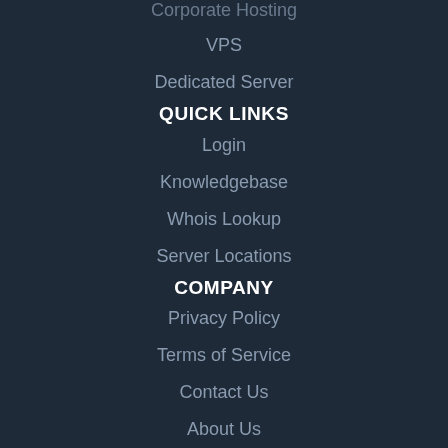Corporate Hosting
VPS
Dedicated Server
QUICK LINKS
Login
Knowledgebase
Whois Lookup
Server Locations
COMPANY
Privacy Policy
Terms of Service
Contact Us
About Us